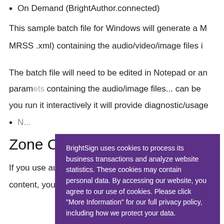On Demand (BrightAuthor.connected)
This sample batch file for Windows will generate a M
MRSS .xml) containing the audio/video/image files i
The batch file will need to be edited in Notepad or an
param containing the audio/image files... can be
you run it interactively it will provide diagnostic/usage
N...
Zone Converter Tool
If you use authoring software such as Photoshop an
content, you can use this tool to easily convert a digit
[Figure (screenshot): Cookie consent overlay with purple background showing BrightSign cookie policy text, a 'More Information' button with white border, and a 'Continue to this Site' button with orange border. Text reads: 'BrightSign uses cookies to process its business transactions and analyze website statistics. These cookies may contain personal data. By accessing our website, you agree to our use of cookies. Please click "More Information" for our full privacy policy, including how we protect your data.']